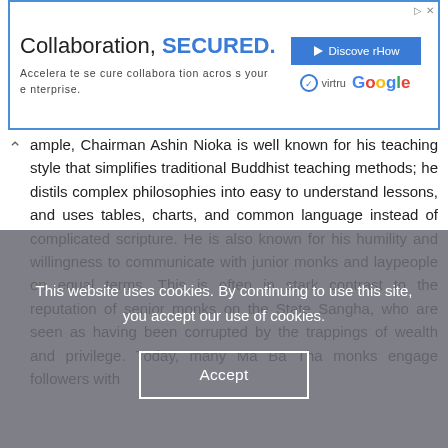[Figure (screenshot): Advertisement banner: 'Collaboration, SECURED. Accelerate secure collaboration across your enterprise.' with Discover How button, Virtru and Google logos.]
ample, Chairman Ashin Nioka is well known for his teaching style that simplifies traditional Buddhist teaching methods; he distils complex philosophies into easy to understand lessons, and uses tables, charts, and common language instead of complicated scripture. He is also known for his humility and willingness to communicate with junior monks and laypeople on equal terms. This is often in stark contrast to the reputation of senior monks on the State Sangha, who are seen as having been corrupted by the trappings of wealth and privilege. Today, many Ma Ba Tha monks engage followers with
This website uses cookies. By continuing to use this site, you accept our use of cookies.
Accept